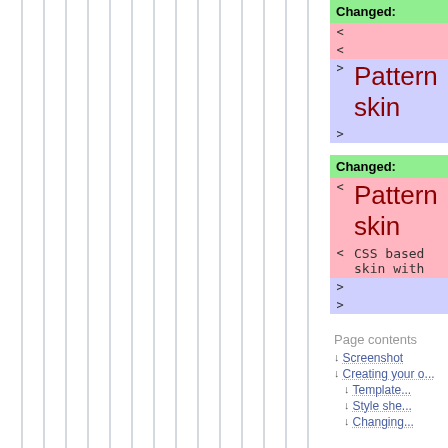[Figure (other): Left panel with vertical gray lines on white background]
Changed:
< < > Pattern skin >
Changed:
< Pattern skin < CSS based skin with > >
Page contents
Screenshot
Creating your o...
Template...
Style she...
Changing...